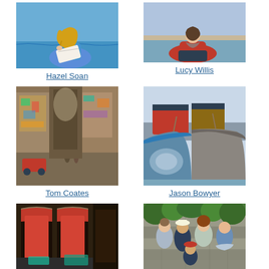[Figure (photo): Woman with long blonde hair sitting outdoors sketching or painting, wearing blue sleeveless top, by the sea]
Hazel Soan
[Figure (photo): Woman in red jacket sitting outdoors near water, with sketchbook or drawing materials]
Lucy Willis
[Figure (photo): Painting of a busy colorful street scene with market stalls and figures]
Tom Coates
[Figure (photo): Painting of boats moored at a harbor, close-up view showing hull reflections]
Jason Bowyer
[Figure (photo): Painting of interior scene with red curtains/drapes and arched windows]
[Figure (photo): Group of people posing outdoors near a stone wall on a painting trip or workshop]